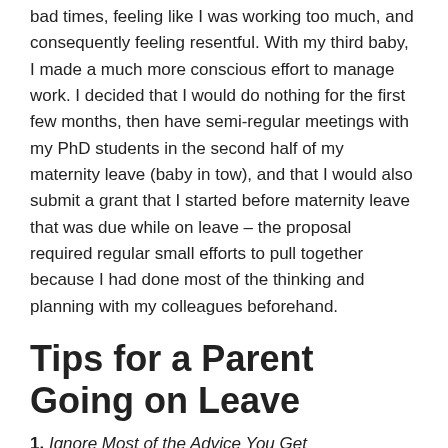bad times, feeling like I was working too much, and consequently feeling resentful. With my third baby, I made a much more conscious effort to manage work. I decided that I would do nothing for the first few months, then have semi-regular meetings with my PhD students in the second half of my maternity leave (baby in tow), and that I would also submit a grant that I started before maternity leave that was due while on leave – the proposal required regular small efforts to pull together because I had done most of the thinking and planning with my colleagues beforehand.
Tips for a Parent Going on Leave
1. Ignore Most of the Advice You Get